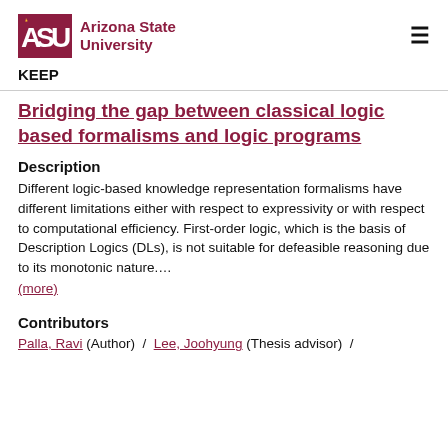ASU Arizona State University | KEEP
Bridging the gap between classical logic based formalisms and logic programs
Description
Different logic-based knowledge representation formalisms have different limitations either with respect to expressivity or with respect to computational efficiency. First-order logic, which is the basis of Description Logics (DLs), is not suitable for defeasible reasoning due to its monotonic nature....
(more)
Contributors
Palla, Ravi (Author) / Lee, Joohyung (Thesis advisor) /